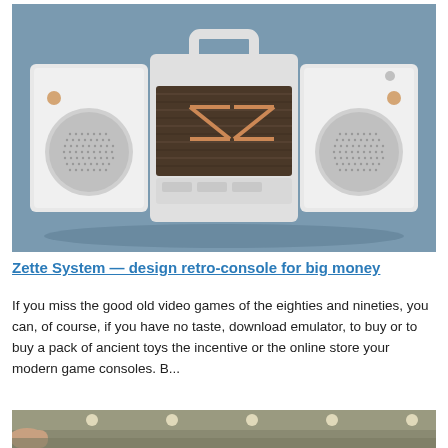[Figure (photo): Photo of a white retro-style boombox/console called Zette System, with two round speaker grilles on each side, a wooden panel center section with a copper/orange 'ZS' logo, and a rectangular carry handle on top. Background is a muted blue-grey.]
Zette System — design retro-console for big money
If you miss the good old video games of the eighties and nineties, you can, of course, if you have no taste, download emulator, to buy or to buy a pack of ancient toys the incentive or the online store your modern game consoles. B...
[Figure (photo): Partial photo showing what appears to be a curved surface (possibly a car interior or device) with ceiling lights visible. Only the top portion is visible.]